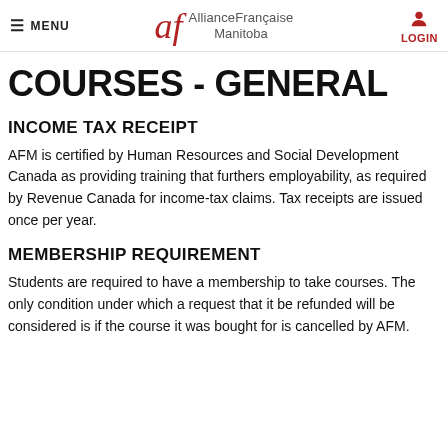MENU | Alliance Française Manitoba | LOGIN
COURSES - GENERAL
INCOME TAX RECEIPT
AFM is certified by Human Resources and Social Development Canada as providing training that furthers employability, as required by Revenue Canada for income-tax claims. Tax receipts are issued once per year.
MEMBERSHIP REQUIREMENT
Students are required to have a membership to take courses. The only condition under which a request that it be refunded will be considered is if the course it was bought for is cancelled by AFM.